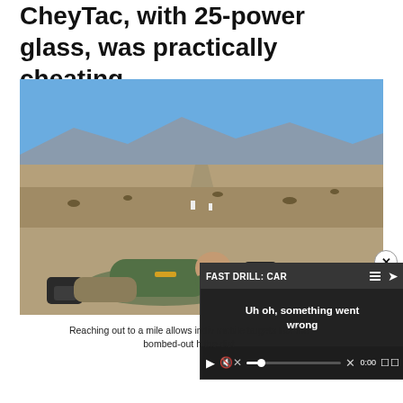CheyTac, with 25-power glass, was practically cheating.
[Figure (photo): A person lying prone in a desert environment, aiming a long-range rifle with a scope, in a dry arid landscape with mountains in the background and a road extending into the distance.]
[Figure (screenshot): Video player overlay showing 'FAST DRILL: CAR' title bar with error message 'Uh oh, something went wrong', playback controls including play button, progress bar, mute icon, timestamp 0:00, and fullscreen button.]
Reaching out to a mile allows indiv mobile targets like the bombed-out h the dist